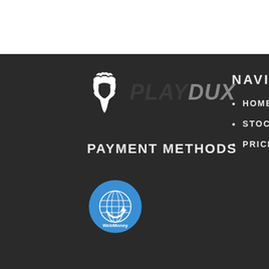[Figure (logo): PlayDux logo with white Spartan helmet icon and stylized text PLAY in dark gray and DUX in medium gray, italic bold uppercase]
PAYMENT METHODS
[Figure (logo): WebMoney circular logo - blue circle with globe/grid icon and WebMoney text]
NAVIGA
HOME
STOCK
PRICES